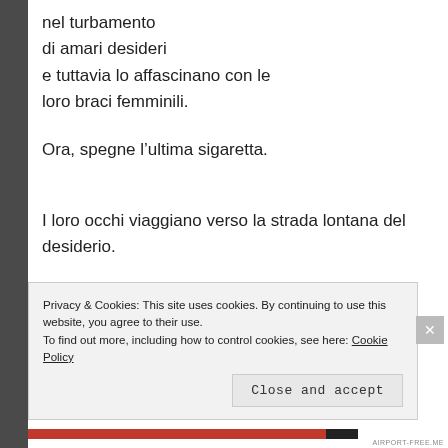nel turbamento
di amari desideri
e tuttavia lo affascinano con le
loro braci femminili.
Ora, spegne l’ultima sigaretta.
I loro occhi viaggiano verso la strada lontana del desiderio.
La bella signora vaga
tra le sue palpebre,
Privacy & Cookies: This site uses cookies. By continuing to use this website, you agree to their use.
To find out more, including how to control cookies, see here: Cookie Policy
Close and accept